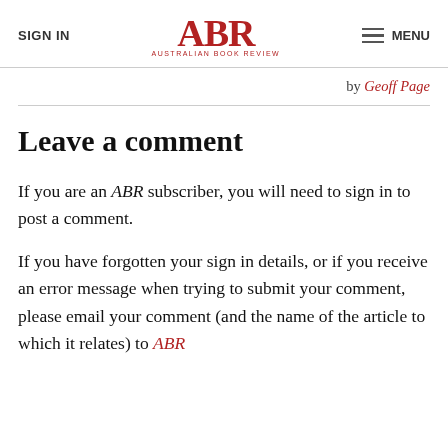SIGN IN | ABR Australian Book Review | MENU
by Geoff Page
Leave a comment
If you are an ABR subscriber, you will need to sign in to post a comment.
If you have forgotten your sign in details, or if you receive an error message when trying to submit your comment, please email your comment (and the name of the article to which it relates) to ABR